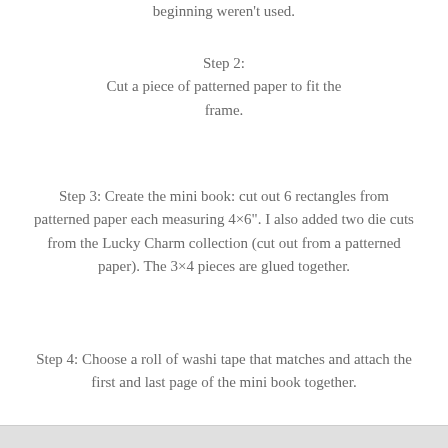beginning weren't used.
Step 2:
Cut a piece of patterned paper to fit the frame.
Step 3: Create the mini book: cut out 6 rectangles from patterned paper each measuring 4×6". I also added two die cuts from the Lucky Charm collection (cut out from a patterned paper). The 3×4 pieces are glued together.
Step 4: Choose a roll of washi tape that matches and attach the first and last page of the mini book together.
[Figure (photo): Bottom strip showing partial image, cropped at bottom of page]